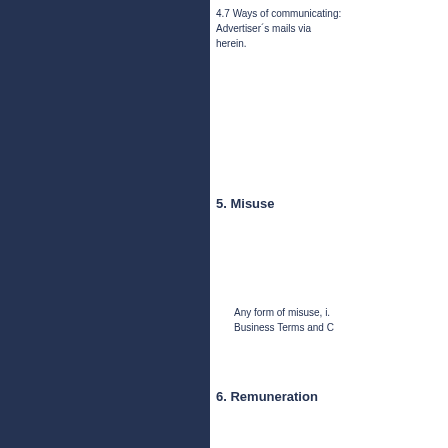4.7 Ways of communicating: Advertiser´s mails via herein.
5. Misuse
Any form of misuse, i. Business Terms and C
6. Remuneration
6.1. The Advertiser m
6.2. The Advertiser m terms: (a) prepaymen
6.3. The price for the based on the statistic tracking system, the A case the Advertiser h